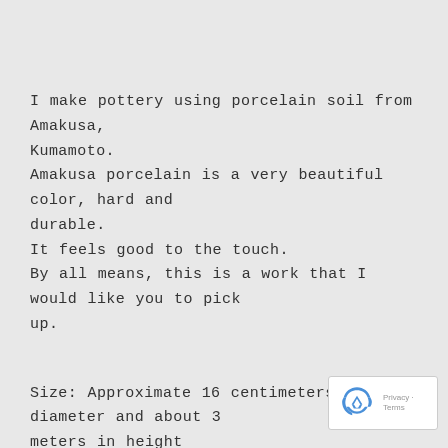I make pottery using porcelain soil from Amakusa, Kumamoto.
Amakusa porcelain is a very beautiful color, hard and durable.
It feels good to the touch.
By all means, this is a work that I would like you to pick up.
Size: Approximate 16 centimeters in diameter and about 3 meters in height
Delivery: the shortest shipment (except for Saturdays and holidays) in the shortest day of business
You may take your time by the availability of inventory
In the above case, please contact us by email.